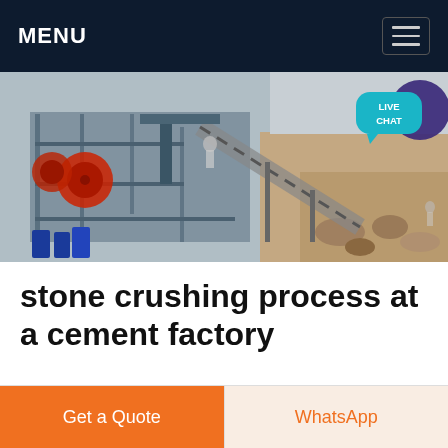MENU
[Figure (photo): Aerial/overhead view of a stone crushing plant at a cement factory, showing industrial machinery, conveyor belts, scaffolding, and a rocky terrain. A 'LIVE CHAT' button overlay is visible in the top right.]
stone crushing process at a cement factory
does cement factory plant process magnesite ores Stone Crusher Machine From China Zenith This page is about the zenith stone crusher machine or crusher machine or crushing machine includes jaw crusher cone crusher
Get a Quote   WhatsApp